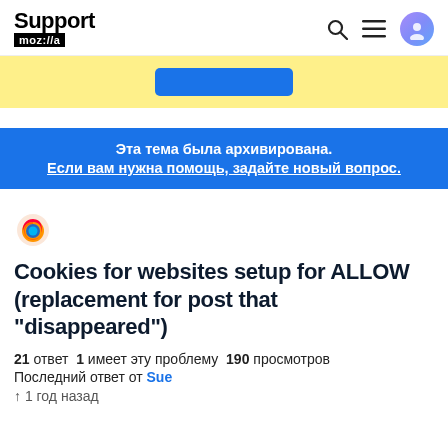Support mozilla
[Figure (other): Yellow banner with a blue button]
Эта тема была архивирована. Если вам нужна помощь, задайте новый вопрос.
[Figure (logo): Firefox logo icon]
Cookies for websites setup for ALLOW (replacement for post that "disappeared")
21 ответ  1 имеет эту проблему  190 просмотров
Последний ответ от Sue
↑ 1 год назад